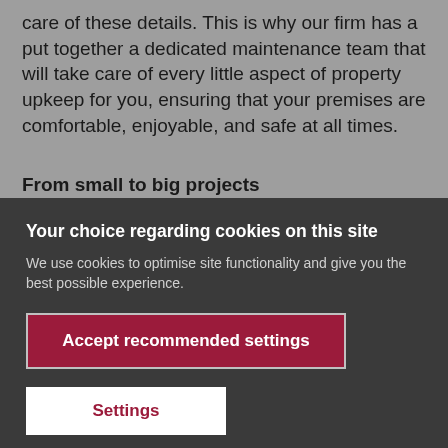care of these details. This is why our firm has a put together a dedicated maintenance team that will take care of every little aspect of property upkeep for you, ensuring that your premises are comfortable, enjoyable, and safe at all times.
From small to big projects
Your choice regarding cookies on this site
We use cookies to optimise site functionality and give you the best possible experience.
Accept recommended settings
Settings